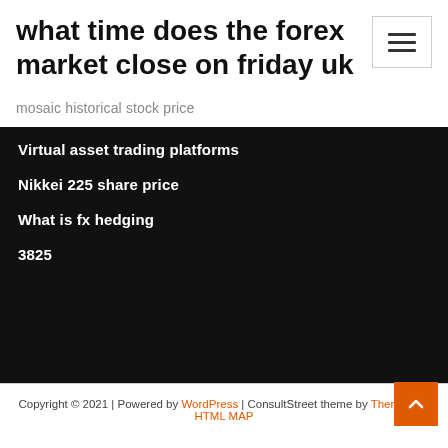what time does the forex market close on friday uk
mosaic historical stock price
Virtual asset trading platforms
Nikkei 225 share price
What is fx hedging
3825
Copyright © 2021 | Powered by WordPress | ConsultStreet theme by ThemeArile HTML MAP